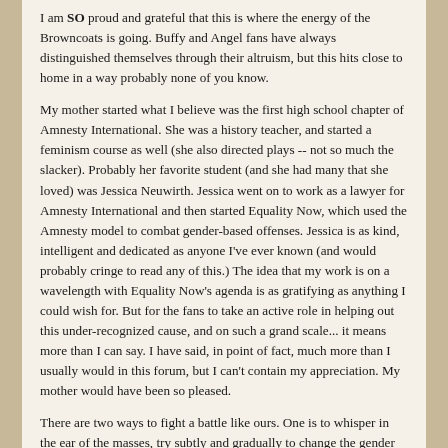I am SO proud and grateful that this is where the energy of the Browncoats is going. Buffy and Angel fans have always distinguished themselves through their altruism, but this hits close to home in a way probably none of you know.
My mother started what I believe was the first high school chapter of Amnesty International. She was a history teacher, and started a feminism course as well (she also directed plays -- not so much the slacker). Probably her favorite student (and she had many that she loved) was Jessica Neuwirth. Jessica went on to work as a lawyer for Amnesty International and then started Equality Now, which used the Amnesty model to combat gender-based offenses. Jessica is as kind, intelligent and dedicated as anyone I've ever known (and would probably cringe to read any of this.) The idea that my work is on a wavelength with Equality Now's agenda is as gratifying as anything I could wish for. But for the fans to take an active role in helping out this under-recognized cause, and on such a grand scale... it means more than I can say. I have said, in point of fact, much more than I usually would in this forum, but I can't contain my appreciation. My mother would have been so pleased.
There are two ways to fight a battle like ours. One is to whisper in the ear of the masses, try subtly and gradually to change the gender expectations and mythic structures of our culture. That's me. The other is to step up and confront the thousands of atrocities that are taking place around the world on an immediate, one-by-one basis. That's a great deal harder, and that's Equality Now. It's not about politics; it's about basic